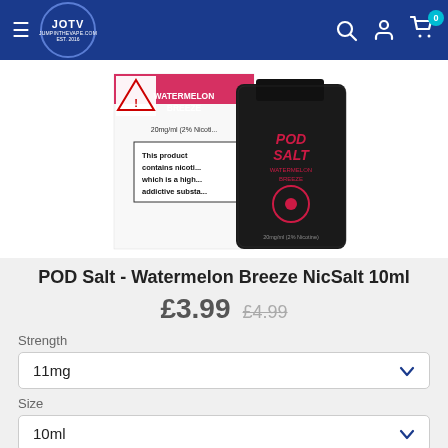JOTV jumpinthevape.com navigation bar with hamburger menu, logo, search, account, and cart (0) icons
[Figure (photo): Product photo: POD Salt Watermelon Breeze NicSalt 10ml — shows a black bottle labeled 'POD SALT WATERMELON BREEZE' next to a product box with warning text 'This product contains nicotine which is a highly addictive substance', 20mg/ml (2% Nicotine)]
POD Salt - Watermelon Breeze NicSalt 10ml
£3.99 £4.99
Strength
11mg
Size
10ml